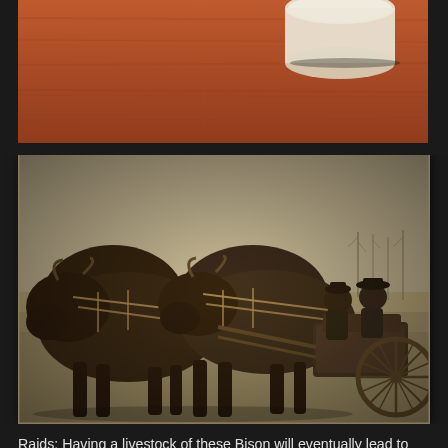[Figure (photo): Partial photo showing top portion — appears to be a dark reddish-brown wooden surface with a rolled paper or document in the upper right corner]
[Figure (photo): Vintage sepia photograph of two bison harnessed to a wagon/cart. Two people (a man and a woman) are seated in the cart. The photo has a classic early 20th century look with aged sepia tones.]
Raids: Having a livestock of these Bison will eventually lead to many predators wanting to assault your base to eat your beef, much in the same manner as how the Corrupted attack Element Veins/OSDs or the Nameless harassing you if you don't have a